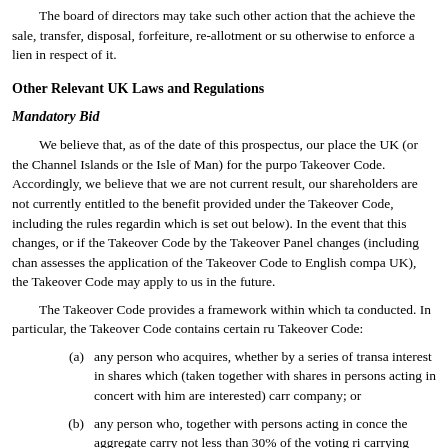The board of directors may take such other action that the achieve the sale, transfer, disposal, forfeiture, re-allotment or su otherwise to enforce a lien in respect of it.
Other Relevant UK Laws and Regulations
Mandatory Bid
We believe that, as of the date of this prospectus, our place the UK (or the Channel Islands or the Isle of Man) for the purpo Takeover Code. Accordingly, we believe that we are not current result, our shareholders are not currently entitled to the benefit provided under the Takeover Code, including the rules regardin which is set out below). In the event that this changes, or if the Takeover Code by the Takeover Panel changes (including chan assesses the application of the Takeover Code to English compa UK), the Takeover Code may apply to us in the future.
The Takeover Code provides a framework within which ta conducted. In particular, the Takeover Code contains certain ru Takeover Code:
(a) any person who acquires, whether by a series of transa interest in shares which (taken together with shares in persons acting in concert with him are interested) carr company; or
(b) any person who, together with persons acting in conce the aggregate carry not less than 30% of the voting ri carrying more than 50% of such voting rights and suc